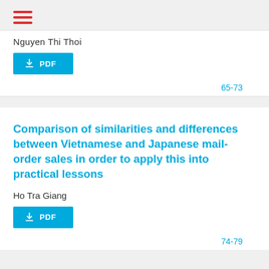[Figure (other): Hamburger menu icon with three red horizontal lines]
Nguyen Thi Thoi
[Figure (other): Blue PDF download button with download arrow icon]
65-73
Comparison of similarities and differences between Vietnamese and Japanese mail-order sales in order to apply this into practical lessons
Ho Tra Giang
[Figure (other): Blue PDF download button with download arrow icon]
74-79